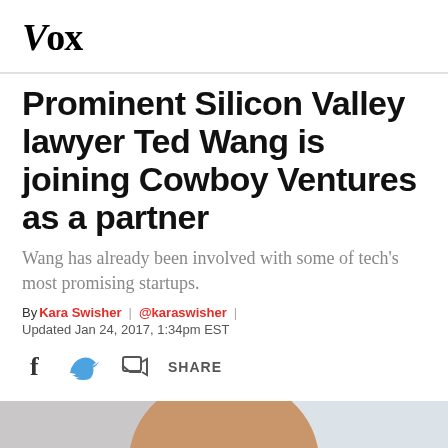Vox
Prominent Silicon Valley lawyer Ted Wang is joining Cowboy Ventures as a partner
Wang has already been involved with some of tech's most promising startups.
By Kara Swisher | @karaswisher | Updated Jan 24, 2017, 1:34pm EST
[Figure (photo): Close-up photo of a bald man, partial head visible, light background]
[Figure (infographic): Social sharing bar with Facebook icon, Twitter icon, and share icon with SHARE label]